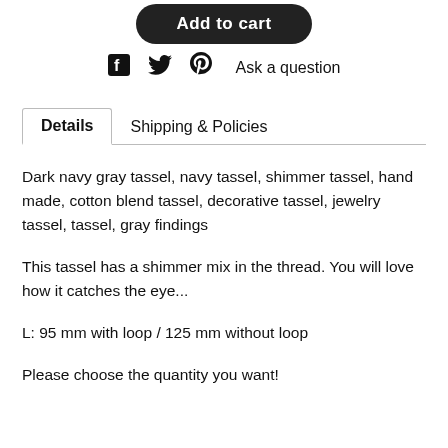[Figure (other): Add to cart button (dark rounded button with white text)]
f  (twitter bird icon)  (pinterest P icon)  Ask a question
Details   Shipping & Policies
Dark navy gray tassel, navy tassel, shimmer tassel, hand made, cotton blend tassel, decorative tassel, jewelry tassel, tassel, gray findings
This tassel has a shimmer mix in the thread. You will love how it catches the eye...
L: 95 mm with loop / 125 mm without loop
Please choose the quantity you want!